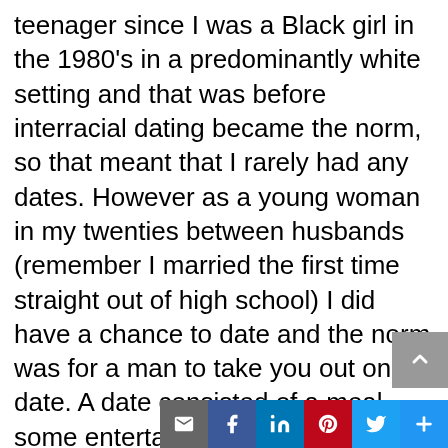teenager since I was a Black girl in the 1980's in a predominantly white setting and that was before interracial dating became the norm, so that meant that I rarely had any dates. However as a young woman in my twenties between husbands (remember I married the first time straight out of high school) I did have a chance to date and the norm was for a man to take you out on a date. A date consisted of a meal, some entertainment maybe in the form of a movie, a a play or stopping to hear some live music. On this thing called a date, the man paid for the date....look I am a equal opportunity woman who considers herself a womanist but at the heart I am still old fashioned and expect men to pay. Heck even my best friend who is a man pays for our outings even though I don't expect